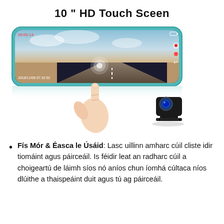10 " HD Touch Sceen
[Figure (photo): Product photo of a 10-inch HD touch screen rearview mirror dash cam showing a road recording scene with timestamp 2018/11/08 07:32:02, a hand touching the screen, and a small backup camera unit with blue LED beside it.]
Fís Mór & Éasca le Úsáid: Lasc uillinn amharc cúil cliste idir tiomáint agus páirceáil. Is féidir leat an radharc cúil a choigeartú de láimh síos nó aníos chun íomhá cúltaca níos dlúithe a thaispeáint duit agus tú ag páirceáil.